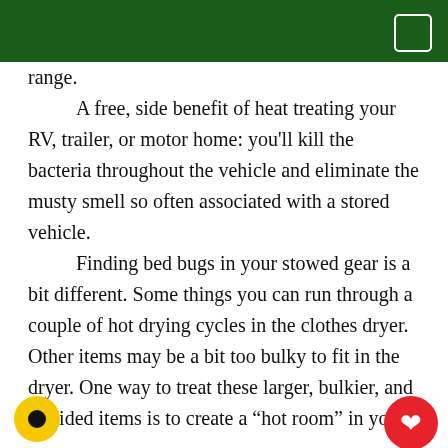range.

A free, side benefit of heat treating your RV, trailer, or motor home: you'll kill the bacteria throughout the vehicle and eliminate the musty smell so often associated with a stored vehicle.

Finding bed bugs in your stowed gear is a bit different. Some things you can run through a couple of hot drying cycles in the clothes dryer. Other items may be a bit too bulky to fit in the dryer. One way to treat these larger, bulkier, and hard-sided items is to create a “hot room” in yo…